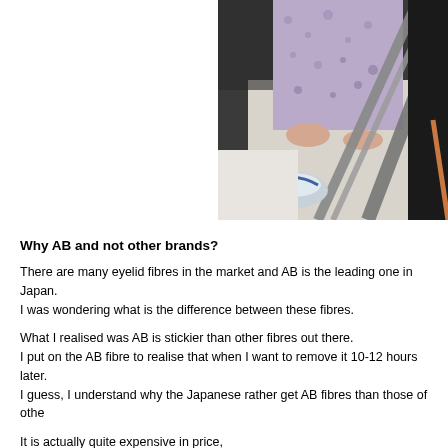[Figure (photo): A person standing in a bathroom, viewed from below at an angle, wearing patterned clothing. A toilet and metal railing are visible in the background.]
Why AB and not other brands?
There are many eyelid fibres in the market and AB is the leading one in Japan. I was wondering what is the difference between these fibres.
What I realised was AB is stickier than other fibres out there. I put on the AB fibre to realise that when I want to remove it 10-12 hours later. I guess, I understand why the Japanese rather get AB fibres than those of othe
It is actually quite expensive in price,
19.90 for 30 pieces (green packaging)